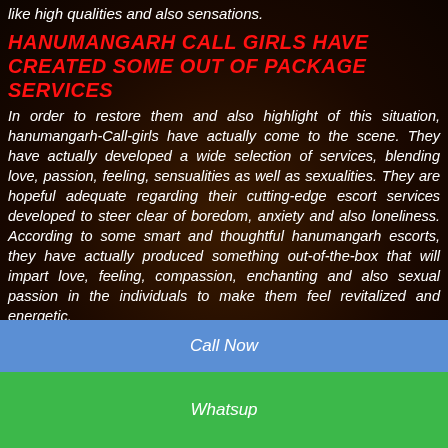like high qualities and also sensations.
HANUMANGARH CALL GIRLS HAVE CREATED SOME OUT OF PACKAGE SERVICES
In order to restore them and also highlight of this situation, hanumangarh-Call-girls have actually come to the scene. They have actually developed a wide selection of services, blending love, passion, feeling, sensualities as well as sexualities. They are hopeful adequate regarding their cutting-edge escort services developed to steer clear of boredom, anxiety and also loneliness. According to some smart and thoughtful hanumangarh escorts, they have actually produced something out-of-the-box that will impart love, feeling, compassion, enchanting and also sexual passion in the individuals to make them feel revitalized and energetic.
They can reclaim their imagination, productivity and also overtime working capacity. They have actually made some permutations as well as combinations
Call Now
Whatsup